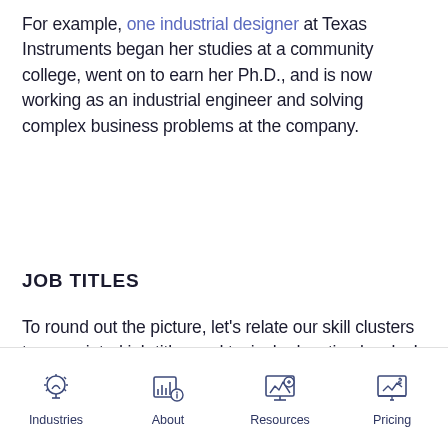For example, one industrial designer at Texas Instruments began her studies at a community college, went on to earn her Ph.D., and is now working as an industrial engineer and solving complex business problems at the company.
JOB TITLES
To round out the picture, let's relate our skill clusters to associated job titles and typical education levels. In Table 4, we see the top job…
[Figure (other): Bottom navigation bar with four icons and labels: Industries (lightbulb icon), About (bar chart with info icon), Resources (screen with graph icon), Pricing (monitor with chart and dollar sign icon)]